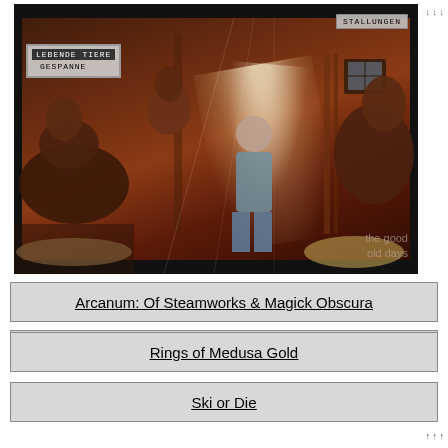[Figure (screenshot): Video game screenshot showing a stable scene with horses and a person, with on-screen menu showing 'LEBENDE TIERE' (selected/highlighted) and 'GESPANNE', and a label 'STALLUNGEN' in top-right. Watermark 'the good old days' visible at bottom-right.]
Arcanum: Of Steamworks & Magick Obscura
Powball
Rings of Medusa Gold
Ski or Die